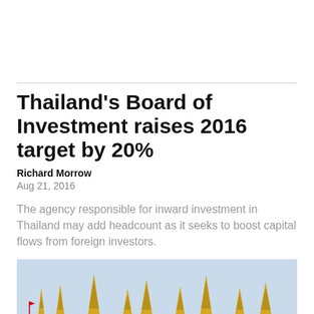Thailand's Board of Investment raises 2016 target by 20%
Richard Morrow
Aug 21, 2016
The agency responsible for inward investment in Thailand may add headcount as it seeks to boost capital flows from foreign investors.
[Figure (photo): Thai temple rooftops with ornate golden spires and green tiled roofs against a light sky]